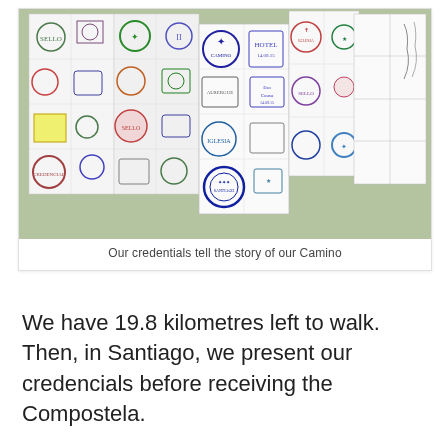[Figure (photo): A folded-out pilgrim credential booklet (credencial) lying on a green surface, covered with many stamps and seals from various churches, hostels and stops along the Camino de Santiago. The stamps are in blue, green, red and other ink colors. The right side of the booklet shows empty stamp boxes.]
Our credentials tell the story of our Camino
We have 19.8 kilometres left to walk. Then, in Santiago, we present our credencials before receiving the Compostela.